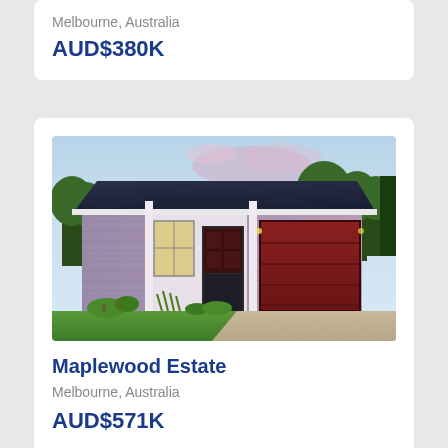Melbourne, Australia
AUD$380K
[Figure (photo): Rendered exterior of a single-storey Australian home with dark navy roof, brick facade, double garage with dark red door, manicured lawn and garden in twilight lighting]
Maplewood Estate
Melbourne, Australia
AUD$571K